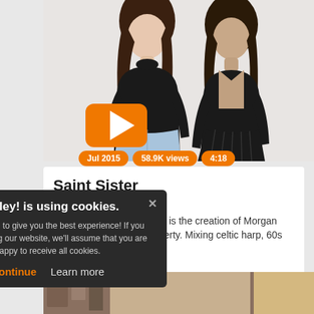[Figure (photo): Two women standing against a white background. Left person wears a black turtleneck and light blue denim skirt. Right person wears a black crop top and black pleated skirt. Orange YouTube-style play button in lower left of photo.]
Jul 2015   58.9K views   4:18
Saint Sister
Dublin
Saint Sister, formed 2014, is the creation of Morgan MacIntyre & Gemma Doherty. Mixing celtic harp, 60s folk and electronic pop...
Information
Hooley! is using cookies.
We use them to give you the best experience! If you continue using our website, we'll assume that you are happy to receive all cookies.
Continue   Learn more
[Figure (photo): Partial bottom strip showing another image]